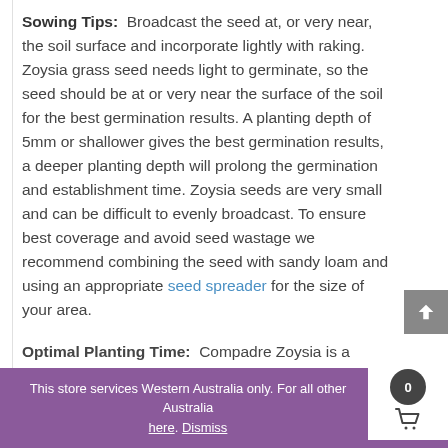Sowing Tips: Broadcast the seed at, or very near, the soil surface and incorporate lightly with raking. Zoysia grass seed needs light to germinate, so the seed should be at or very near the surface of the soil for the best germination results. A planting depth of 5mm or shallower gives the best germination results, a deeper planting depth will prolong the germination and establishment time. Zoysia seeds are very small and can be difficult to evenly broadcast. To ensure best coverage and avoid seed wastage we recommend combining the seed with sandy loam and using an appropriate seed spreader for the size of your area.
Optimal Planting Time: Compadre Zoysia is a warm...
This store services Western Australia only. For all other Australia ... here. Dismiss